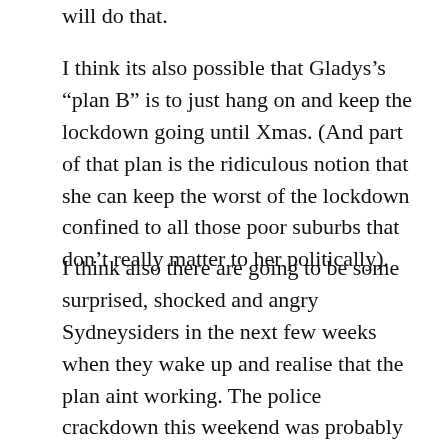will do that.
I think its also possible that Gladys’s “plan B” is to just hang on and keep the lockdown going until Xmas. (And part of that plan is the ridiculous notion that she can keep the worst of the lockdown confined to all those poor suburbs that don’t really matter to her politically).
I think also there are going to be some surprised, shocked and angry Sydneysiders in the next few weeks when they wake up and realise that the plan aint working. The police crackdown this weekend was probably a dress rehearsal.